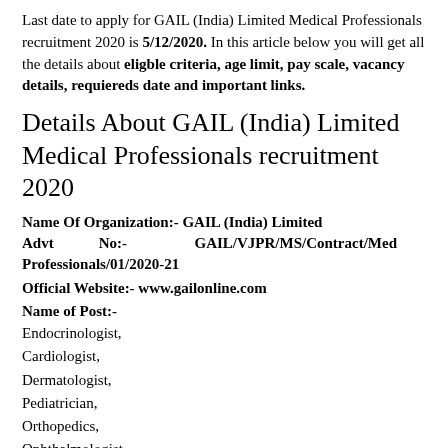Last date to apply for GAIL (India) Limited Medical Professionals recruitment 2020 is 5/12/2020. In this article below you will get all the details about eligble criteria, age limit, pay scale, vacancy details, requiereds date and important links.
Details About GAIL (India) Limited Medical Professionals recruitment 2020
Name Of Organization:- GAIL (India) Limited
Advt No:- GAIL/VJPR/MS/Contract/Med Professionals/01/2020-21
Official Website:- www.gailonline.com
Name of Post:-
Endocrinologist,
Cardiologist,
Dermatologist,
Pediatrician,
Orthopedics,
Ophthalmologist,
ENT,